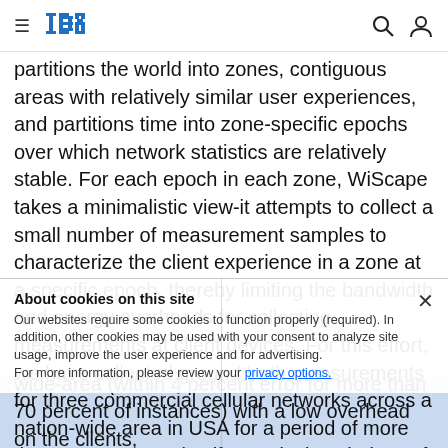≡ IBM [logo] [search] [user]
partitions the world into zones, contiguous areas with relatively similar user experiences, and partitions time into zone-specific epochs over which network statistics are relatively stable. For each epoch in each zone, WiScape takes a minimalistic view-it attempts to collect a small number of measurement samples to characterize the client experience in a zone at a specific epoch, thereby limiting the bandwidth and energy overheads for collecting measurements at client devices. For this effort, we have collected ground truth measurements for three commercial cellular networks across a nation-wide area in USA for a period of more than one year. We justify our design choices of WiScape through collected data, demonstrate that WiScape can provide an accurate performance characterization of the networks over a wide-area (within 4 percent error for more than 70 percent of instances) with a low overhead on the clients,
About cookies on this site
Our websites require some cookies to function properly (required). In addition, other cookies may be used with your consent to analyze site usage, improve the user experience and for advertising.
For more information, please review your privacy options. [close]